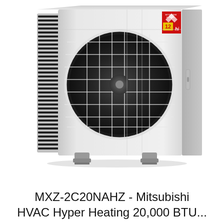[Figure (photo): Mitsubishi Electric MXZ-2C20NAHZ outdoor multi-zone heat pump unit. White rectangular box-shaped unit with large circular fan on the front face covered by wire guard, vertical fin heat exchanger on the left side, mounting feet at bottom, and Mitsubishi Electric 12Hi logo badge in the upper right corner.]
MXZ-2C20NAHZ - Mitsubishi HVAC Hyper Heating 20,000 BTU...